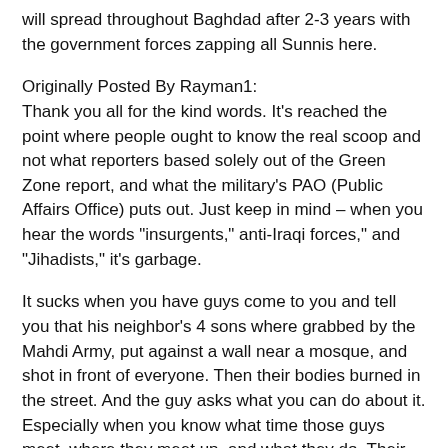will spread throughout Baghdad after 2-3 years with the government forces zapping all Sunnis here.
Originally Posted By Rayman1:
Thank you all for the kind words. It’s reached the point where people ought to know the real scoop and not what reporters based solely out of the Green Zone report, and what the military’s PAO (Public Affairs Office) puts out. Just keep in mind – when you hear the words “insurgents,” anti-Iraqi forces,” and “Jihadists,” it’s garbage.
It sucks when you have guys come to you and tell you that his neighbor’s 4 sons where grabbed by the Mahdi Army, put against a wall near a mosque, and shot in front of everyone. Then their bodies burned in the street. And the guy asks what you can do about it. Especially when you know what time those guys meet, where they meet up, and what they do. Their practically untouchable as their is no requirement on dealing with them.